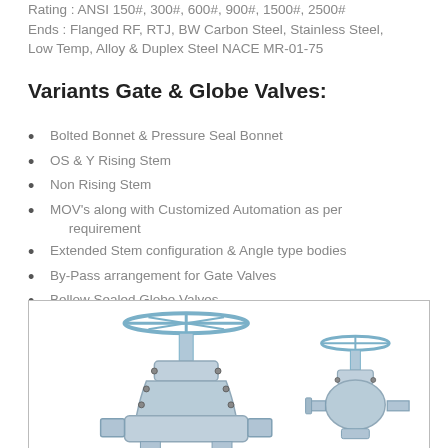Rating : ANSI 150#, 300#, 600#, 900#, 1500#, 2500# Ends : Flanged RF, RTJ, BW Carbon Steel, Stainless Steel, Low Temp, Alloy & Duplex Steel NACE MR-01-75
Variants Gate & Globe Valves:
Bolted Bonnet & Pressure Seal Bonnet
OS & Y Rising Stem
Non Rising Stem
MOV's along with Customized Automation as per requirement
Extended Stem configuration & Angle type bodies
By-Pass arrangement for Gate Valves
Bellow Sealed Globe Valves
Fugitive Emissions
[Figure (photo): Industrial gate and globe valves — two stainless steel valve assemblies shown side by side, one large gate valve with handwheel on top and one smaller globe valve with handwheel]